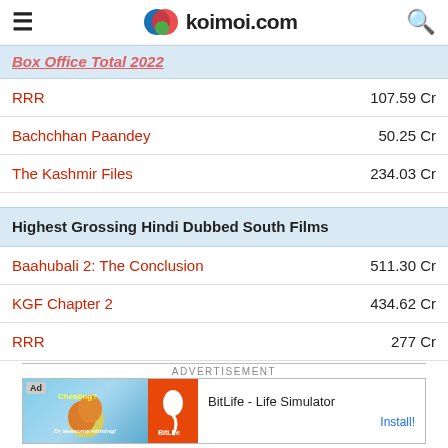koimoi.com
Box Office Total 2022
RRR — 107.59 Cr
Bachchhan Paandey — 50.25 Cr
The Kashmir Files — 234.03 Cr
Highest Grossing Hindi Dubbed South Films
Baahubali 2: The Conclusion — 511.30 Cr
KGF Chapter 2 — 434.62 Cr
RRR — 277 Cr
[Figure (screenshot): Advertisement banner for BitLife - Life Simulator app]